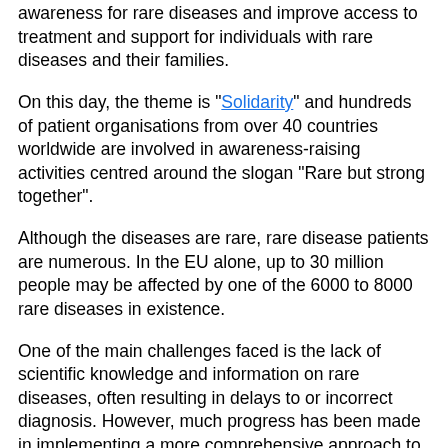awareness for rare diseases and improve access to treatment and support for individuals with rare diseases and their families.
On this day, the theme is "Solidarity" and hundreds of patient organisations from over 40 countries worldwide are involved in awareness-raising activities centred around the slogan "Rare but strong together".
Although the diseases are rare, rare disease patients are numerous. In the EU alone, up to 30 million people may be affected by one of the 6000 to 8000 rare diseases in existence.
One of the main challenges faced is the lack of scientific knowledge and information on rare diseases, often resulting in delays to or incorrect diagnosis. However, much progress has been made in implementing a more comprehensive approach to rare diseases in terms of public health policies and international cooperation of clinical and scientific researchers.
In a video interview for Rare Disease Day, Ségolène Aymé, Editor-in-Chief of Orphanet Journal of Rare Diseases, discusses their important